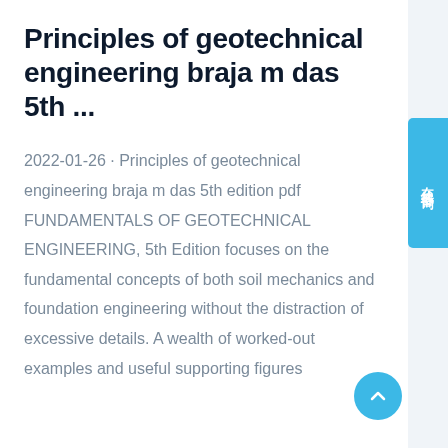Principles of geotechnical engineering braja m das 5th ...
2022-01-26 · Principles of geotechnical engineering braja m das 5th edition pdf FUNDAMENTALS OF GEOTECHNICAL ENGINEERING, 5th Edition focuses on the fundamental concepts of both soil mechanics and foundation engineering without the distraction of excessive details. A wealth of worked-out examples and useful supporting figures